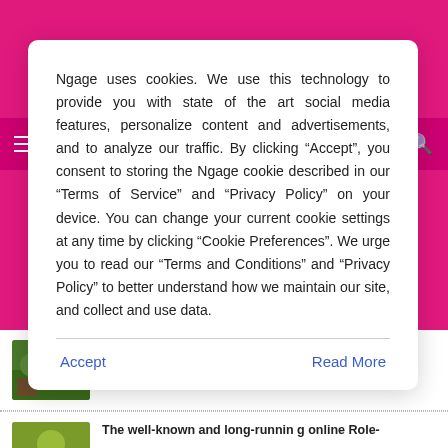Ngage uses cookies. We use this technology to provide you with state of the art social media features, personalize content and advertisements, and to analyze our traffic. By clicking “Accept”, you consent to storing the Ngage cookie described in our “Terms of Service” and “Privacy Policy” on your device. You can change your current cookie settings at any time by clicking “Cookie Preferences”. We urge you to read our “Terms and Conditions” and “Privacy Policy” to better understand how we maintain our site, and collect and use data.
Accept
Read More
d by the look
Aug 21, 2022
The well-known and long-running online Role-